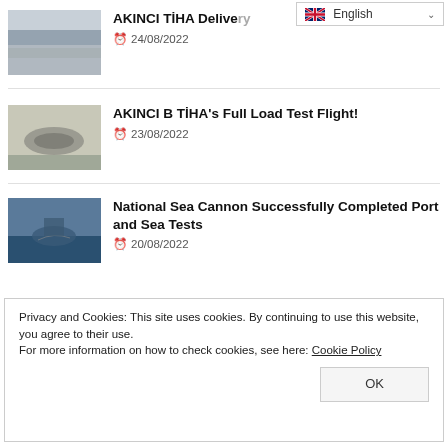[Figure (screenshot): English language selector dropdown with flag icon]
[Figure (photo): Aerial view of aircraft on tarmac/runway]
AKINCI TİHA Delivery
24/08/2022
[Figure (photo): Military drone aircraft on airfield]
AKINCI B TİHA's Full Load Test Flight!
23/08/2022
[Figure (photo): Naval warship at sea with smoke]
National Sea Cannon Successfully Completed Port and Sea Tests
20/08/2022
Privacy and Cookies: This site uses cookies. By continuing to use this website, you agree to their use.
For more information on how to check cookies, see here: Cookie Policy